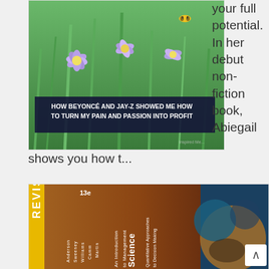[Figure (photo): Book cover photo showing purple flowers with bee, with dark navy overlay text reading 'HOW BEYONCÉ AND JAY-Z SHOWED ME HOW TO TURN MY PAIN AND PASSION INTO PROFIT']
your full potential. In her debut non-fiction book, Abiegail shows you how t...
[Figure (photo): Photo of textbook 'An Introduction to Management Science: Quantitative Approaches to Decision Making' 13th edition Revised, by Anderson, Sweeney, Williams, Camm, Martin]